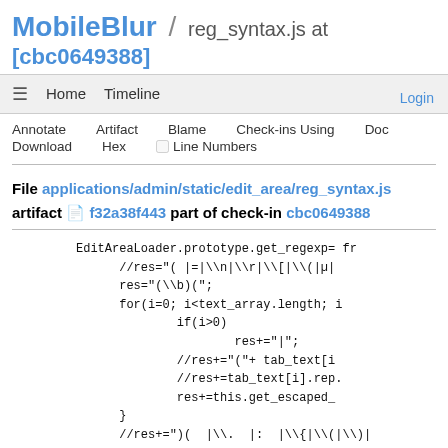MobileBlur / reg_syntax.js at [cbc0649388]
Login
≡  Home  Timeline
Annotate  Artifact  Blame  Check-ins Using  Doc  Download  Hex  ☐ Line Numbers
File applications/admin/static/edit_area/reg_syntax.js artifact f32a38f443 part of check-in cbc0649388
EditAreaLoader.prototype.get_regexp= fr
//res="( |=|\\n|\\r|\\[|\\(|µ|
res="(\\b)(";
for(i=0; i<text_array.length; i
    if(i>0)
        res+="|";
    //res+="("+ tab_text[i
    //res+=tab_text[i].rep.
    res+=this.get_escaped_
}
//res+=")(  |\\.  |:  |\\{|\\(|\\)|\\